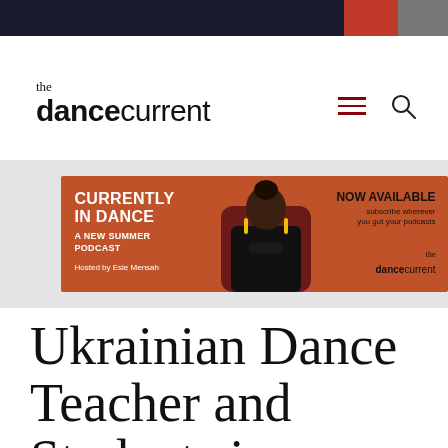the dance current
[Figure (infographic): Banner ad for 'Currently in Dance - A New Summer Podcast', hosted by Esie Mensah, now available, subscribe wherever you got your podcasts. Features a person seated in a chair on an orange/rust background.]
Ukrainian Dance Teacher and Students in Stephenville, N.L...